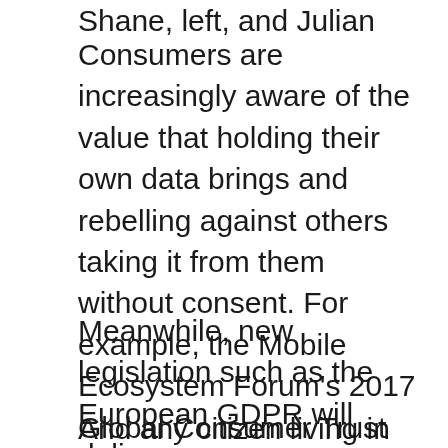Shane, left, and Julian
Consumers are increasingly aware of the value that holding their own data brings and rebelling against others taking it from them without consent. For example, the Mobile Ecosystem Forum's 2017 Global Consumer Trust study shows that when sharing data, 31% of consumers value personal data privacy-protection and access to it above financial rewards (29%) or discounts (22%).
Meanwhile, new legislation such as the European GDPR will deliver new consumer rights over ownership and use starting in May 2018.
And any citizen living in Europe or the United States knows that they are susceptible to various forms of government or corporate surveillance